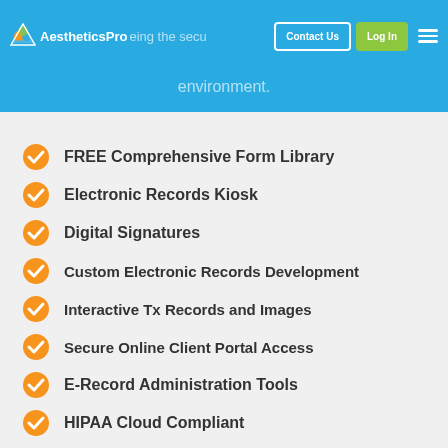AestheticsPro — Contact Us | Log In
environment.
FREE Comprehensive Form Library
Electronic Records Kiosk
Digital Signatures
Custom Electronic Records Development
Interactive Tx Records and Images
Secure Online Client Portal Access
E-Record Administration Tools
HIPAA Cloud Compliant
Form Editing Tool
Photo and Document Uploads